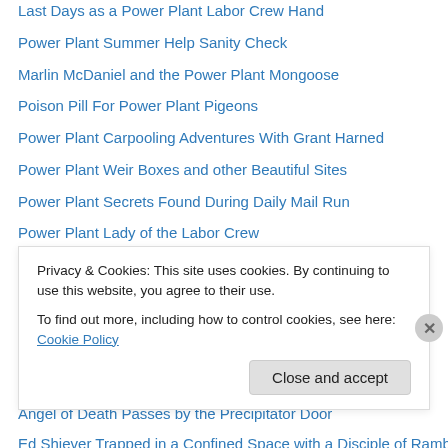Last Days as a Power Plant Labor Crew Hand
Power Plant Summer Help Sanity Check
Marlin McDaniel and the Power Plant Mongoose
Poison Pill For Power Plant Pigeons
Power Plant Carpooling Adventures With Grant Harned
Power Plant Weir Boxes and other Beautiful Sites
Power Plant Secrets Found During Daily Mail Run
Power Plant Lady of the Labor Crew
Power Plant Men Fighting Fires for Fun
How Many Power Plant Men Can You Put in a 1982 Honda Civic?
“Take a Note Jan” said the Supervisor of Power Production
Life and Death on the Power Plant Lake
Angel of Death Passes by the Precipitator Door
Ed Shiever Trapped in a Confined Space with a Disciple of Ramblin’
Privacy & Cookies: This site uses cookies. By continuing to use this website, you agree to their use.
To find out more, including how to control cookies, see here: Cookie Policy
Close and accept